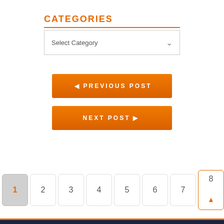CATEGORIES
[Figure (screenshot): Dropdown selector showing 'Select Category' with a downward chevron arrow]
[Figure (screenshot): Orange button labeled 'PREVIOUS POST' with left arrow]
[Figure (screenshot): Orange button labeled 'NEXT POST' with right arrow]
[Figure (screenshot): Pagination row with page numbers 1 through 8, page 1 active (gray), page 8 has orange border with up arrow]